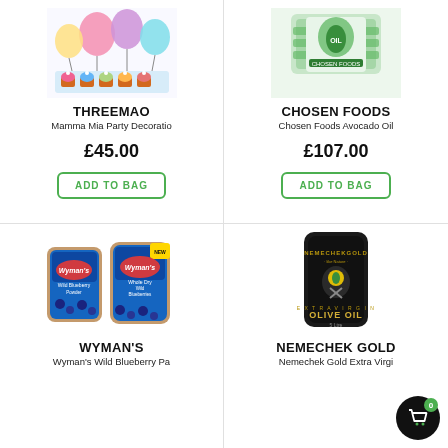[Figure (photo): THREEMAO Mamma Mia Party Decoration product image with balloons and cupcakes]
THREEMAO
Mamma Mia Party Decoratio
£45.00
ADD TO BAG
[Figure (photo): Chosen Foods Avocado Oil product image with green packages]
CHOSEN FOODS
Chosen Foods Avocado Oil
£107.00
ADD TO BAG
[Figure (photo): Wyman's Wild Blueberry products - two kraft paper pouches with blue labels]
WYMAN'S
Wyman's Wild Blueberry Pa
[Figure (photo): Nemechek Gold Extra Virgin Olive Oil - dark black flat pouch packaging]
NEMECHEK GOLD
Nemechek Gold Extra Virgi